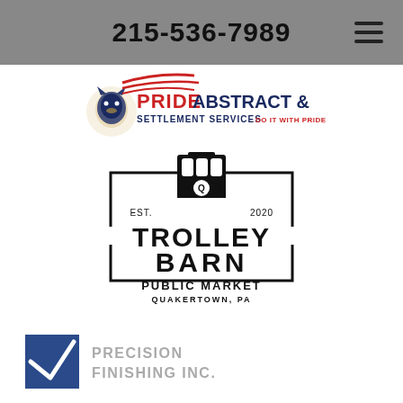215-536-7989
[Figure (logo): Pride Abstract & Settlement Services logo with lion and American flag motif. Text reads: PRIDE ABSTRACT & SETTLEMENT SERVICES DO IT WITH PRIDE]
[Figure (logo): Trolley Barn Public Market logo. Shows a trolley car icon inside a rectangular border with corner brackets. Text: EST. Q 2020, TROLLEY BARN, PUBLIC MARKET, QUAKERTOWN, PA]
[Figure (logo): Precision Finishing Inc. logo with a blue square containing a checkmark/V shape and text PRECISION FINISHING INC.]